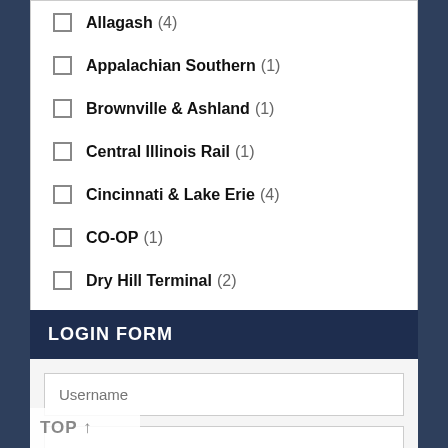Allagash (4)
Appalachian Southern (1)
Brownville & Ashland (1)
Central Illinois Rail (1)
Cincinnati & Lake Erie (4)
CO-OP (1)
Dry Hill Terminal (2)
Florida & Gulf Coast (1)
Georgia Road (9)
Reset All
LOGIN FORM
Username
........